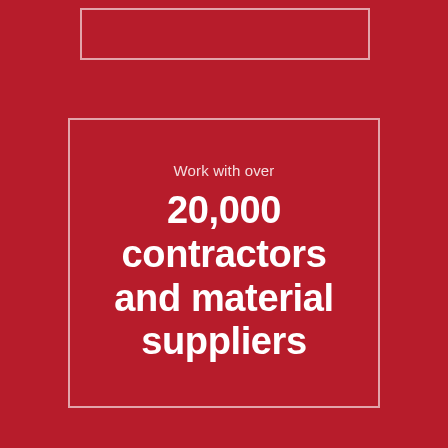[Figure (infographic): Red background infographic with two white-bordered boxes. The top box is partially visible at the top of the page. The main center box contains the text 'Work with over' followed by '20,000 contractors and material suppliers' in large bold white text.]
Work with over
20,000 contractors and material suppliers